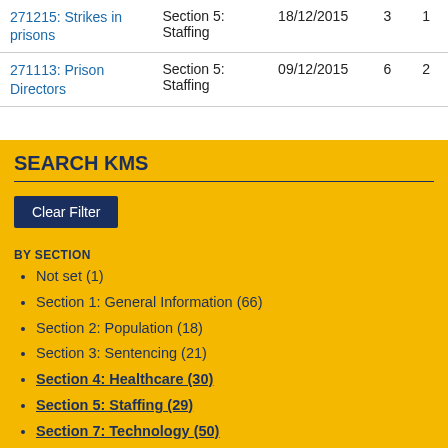|  | Section | Date | Col1 | Col2 |
| --- | --- | --- | --- | --- |
| 271215: Strikes in prisons | Section 5: Staffing | 18/12/2015 | 3 | 1 |
| 271113: Prison Directors | Section 5: Staffing | 09/12/2015 | 6 | 2 |
SEARCH KMS
Clear Filter
BY SECTION
Not set (1)
Section 1: General Information (66)
Section 2: Population (18)
Section 3: Sentencing (21)
Section 4: Healthcare (30)
Section 5: Staffing (29)
Section 7: Technology (50)